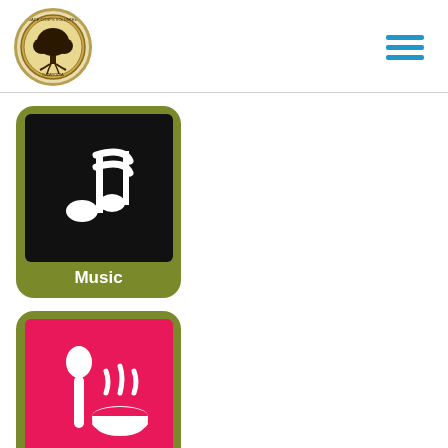[Figure (logo): Peace Corps Volunteer Cambodia circular medallion logo with tree motif]
[Figure (illustration): Hamburger menu icon with three horizontal blue lines]
[Figure (illustration): Music category card: olive green rounded rectangle with black square containing white music notes icon, labeled Music]
[Figure (illustration): Recipes category card: olive green rounded rectangle with pink/magenta square containing white spoon and steaming bowl icon, labeled Recipes]
Cambodia 2014